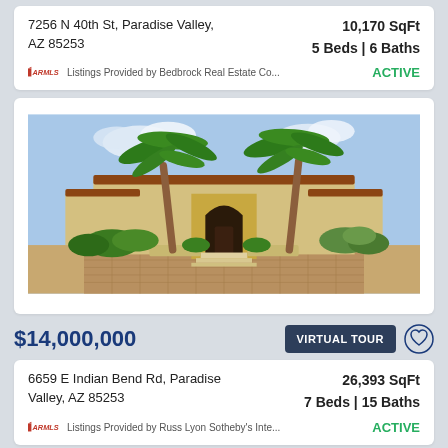7256 N 40th St, Paradise Valley, AZ 85253
10,170 SqFt
5 Beds | 6 Baths
ARMLS Listings Provided by Bedbrock Real Estate Co...
ACTIVE
[Figure (photo): Exterior photo of a Mediterranean-style luxury home with yellow stucco walls, arched Gothic entryway, tile roof, and palm trees in foreground]
$14,000,000
VIRTUAL TOUR
6659 E Indian Bend Rd, Paradise Valley, AZ 85253
26,393 SqFt
7 Beds | 15 Baths
ARMLS Listings Provided by Russ Lyon Sotheby's Inte...
ACTIVE